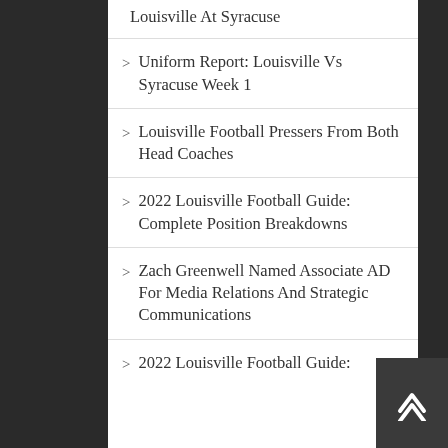Louisville At Syracuse
Uniform Report: Louisville Vs Syracuse Week 1
Louisville Football Pressers From Both Head Coaches
2022 Louisville Football Guide: Complete Position Breakdowns
Zach Greenwell Named Associate AD For Media Relations And Strategic Communications
2022 Louisville Football Guide: